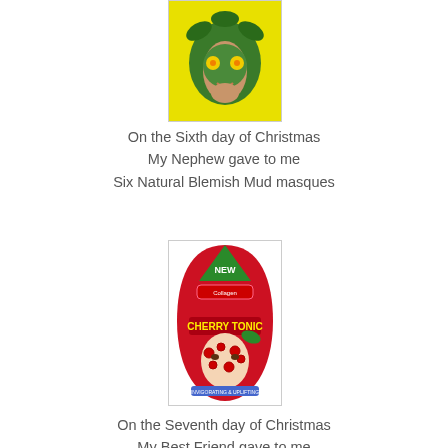[Figure (photo): Product photo of a green Natural Blemish Mud face mask packet with woman wearing green clay mask and yellow flower eye covers]
On the Sixth day of Christmas
My Nephew gave to me
Six Natural Blemish Mud masques
[Figure (photo): Product photo of Cherry Tonic face mask in a teardrop-shaped red packaging labeled NEW, with woman wearing cherry-spotted mask]
On the Seventh day of Christmas
My Best Friend gave to me
Seven Softening Cherry Tonic masques